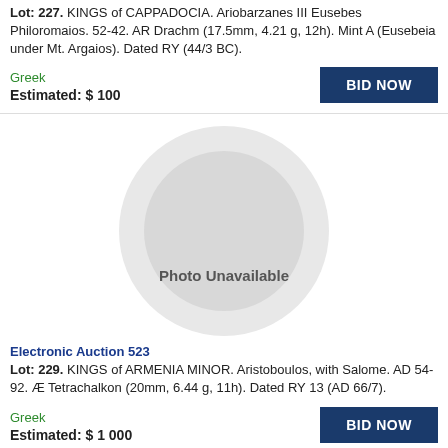Lot: 227. KINGS of CAPPADOCIA. Ariobarzanes III Eusebes Philoromaios. 52-42. AR Drachm (17.5mm, 4.21 g, 12h). Mint A (Eusebeia under Mt. Argaios). Dated RY (44/3 BC).
Greek
Estimated: $ 100
[Figure (photo): Photo Unavailable placeholder image with circular grey background]
Electronic Auction 523
Lot: 229. KINGS of ARMENIA MINOR. Aristoboulos, with Salome. AD 54-92. Æ Tetrachalkon (20mm, 6.44 g, 11h). Dated RY 13 (AD 66/7).
Greek
Estimated: $ 1 000
[Figure (photo): Partial photo placeholder at bottom of page]